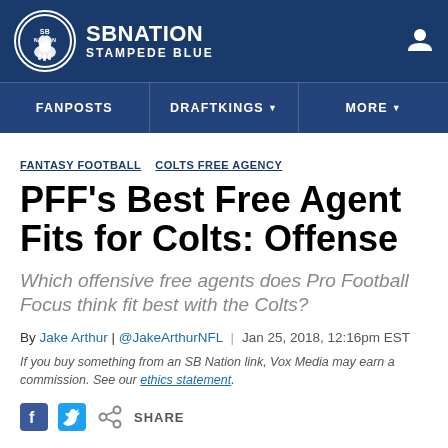SB Nation — Stampede Blue
FANPOSTS
DRAFTKINGS
MORE
FANTASY FOOTBALL   COLTS FREE AGENCY
PFF's Best Free Agent Fits for Colts: Offense
Which offensive free agents does Pro Football Focus think fit best with the Colts?
By Jake Arthur | @JakeArthurNFL | Jan 25, 2018, 12:16pm EST
If you buy something from an SB Nation link, Vox Media may earn a commission. See our ethics statement.
SHARE